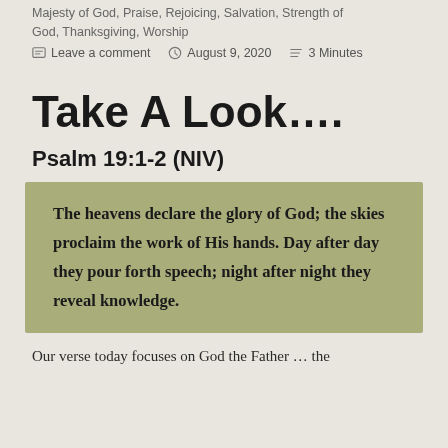Majesty of God, Praise, Rejoicing, Salvation, Strength of God, Thanksgiving, Worship
Leave a comment   August 9, 2020   3 Minutes
Take A Look….
Psalm 19:1-2 (NIV)
The heavens declare the glory of God; the skies proclaim the work of His hands. Day after day they pour forth speech; night after night they reveal knowledge.
Our verse today focuses on God the Father … the